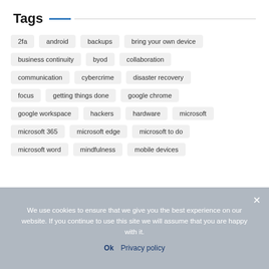Tags
2fa
android
backups
bring your own device
business continuity
byod
collaboration
communication
cybercrime
disaster recovery
focus
getting things done
google chrome
google workspace
hackers
hardware
microsoft
microsoft 365
microsoft edge
microsoft to do
microsoft word
mindfulness
mobile devices
We use cookies to ensure that we give you the best experience on our website. If you continue to use this site we will assume that you are happy with it.
Ok  Privacy policy